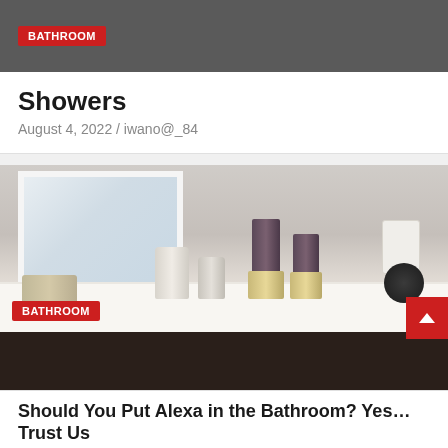BATHROOM
Showers
August 4, 2022 / iwano@_84
[Figure (photo): Bathroom vanity countertop with a mirror, decorative jars, two pillar candles on holders, a faucet, and a smart device plugged into an outlet on the wall. Dark wood cabinet below the white countertop.]
BATHROOM
Should You Put Alexa in the Bathroom? Yes… Trust Us